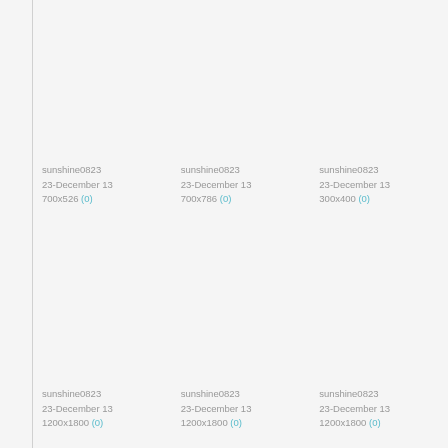sunshine0823
23-December 13
700x526 (0)
sunshine0823
23-December 13
700x786 (0)
sunshine0823
23-December 13
300x400 (0)
sunshine0823
23-December 13
1200x1800 (0)
sunshine0823
23-December 13
1200x1800 (0)
sunshine0823
23-December 13
1200x1800 (0)